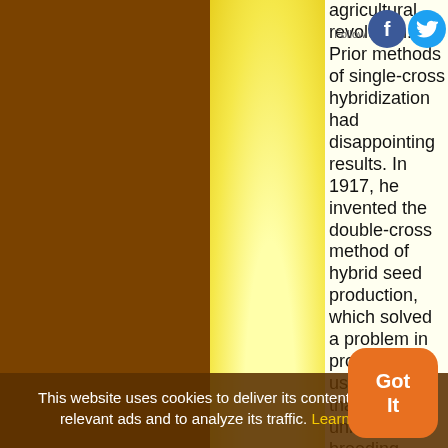agricultural revolution. Prior methods of single-cross hybridization had disappointing results. In 1917, he invented the double-cross method of hybrid seed production, which solved a problem in producing useful strains that were uniform, true-breeding, while still vigorous able to give greater yield. Earlier researchers obtained "pure
This website uses cookies to deliver its content, to show relevant ads and to analyze its traffic. Learn More